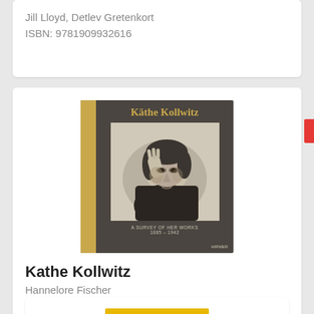Jill Lloyd, Detlev Gretenkort
ISBN: 9781909932616
[Figure (illustration): Book cover of 'Käthe Kollwitz: A Survey of Her Works 1885-1942' showing a charcoal portrait of a woman resting her head on her hand, dark brown cover with gold spine and title text]
Kathe Kollwitz
Hannelore Fischer
ISBN: 9783777430799
Fernand Léger